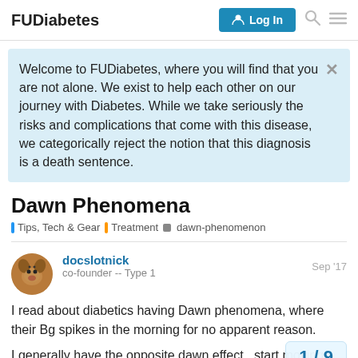FUDiabetes | Log In
Welcome to FUDiabetes, where you will find that you are not alone. We exist to help each other on our journey with Diabetes. While we take seriously the risks and complications that come with this disease, we categorically reject the notion that this diagnosis is a death sentence.
Dawn Phenomena
Tips, Tech & Gear | Treatment | dawn-phenomenon
docslotnick  Sep '17
co-founder -- Type 1
I read about diabetics having Dawn phenomena, where their Bg spikes in the morning for no apparent reason.
I generally have the opposite dawn effect. start moving around my Bg goes down. Li...
1 / 9